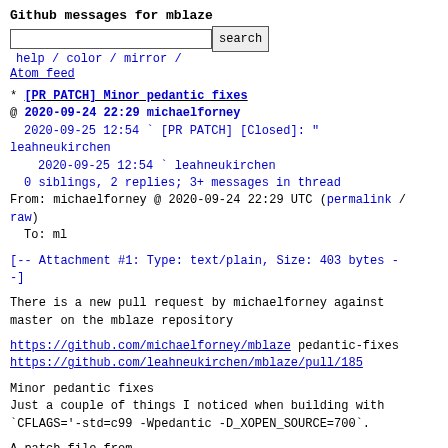Github messages for mblaze
search  help / color / mirror / Atom feed
* [PR PATCH] Minor pedantic fixes
@ 2020-09-24 22:29 michaelforney
  2020-09-25 12:54 ` [PR PATCH] [Closed]: " leahneukirchen
    2020-09-25 12:54 ` leahneukirchen
  0 siblings, 2 replies; 3+ messages in thread
From: michaelforney @ 2020-09-24 22:29 UTC (permalink / raw)
  To: ml
[-- Attachment #1: Type: text/plain, Size: 403 bytes --]
There is a new pull request by michaelforney against master on the mblaze repository
https://github.com/michaelforney/mblaze pedantic-fixes
https://github.com/leahneukirchen/mblaze/pull/185
Minor pedantic fixes
Just a couple of things I noticed when building with
`CFLAGS='-std=c99 -Wpedantic -D_XOPEN_SOURCE=700`.
A patch file from
https://github.com/leahneukirchen/mblaze/pull/185.patch